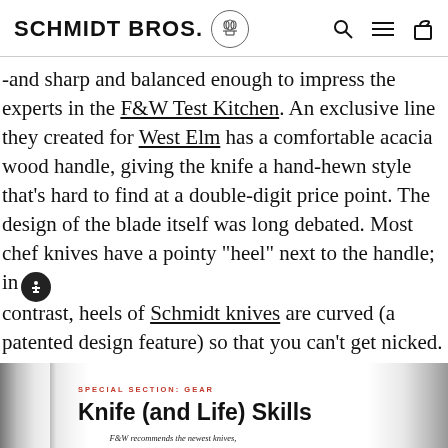SCHMIDT BROS.
-and sharp and balanced enough to impress the experts in the F&W Test Kitchen. An exclusive line they created for West Elm has a comfortable acacia wood handle, giving the knife a hand-hewn style that's hard to find at a double-digit price point. The design of the blade itself was long debated. Most chef knives have a pointy “heel” next to the handle; in contrast, heels of Schmidt knives are curved (a patented design feature) so that you can’t get nicked.
[Figure (photo): Open magazine spread showing article titled 'Knife (and Life) Skills' with subtitle 'SPECIAL SECTION: GEAR' and body text, alongside a wooden knife handle visible at the right edge.]
SPECIAL SECTION: GEAR
Knife (and Life) Skills
F&W recommends the newest knives, shares the tale of one cook's sharp and shiny inheritance and offers tips on how to cut with confidence.